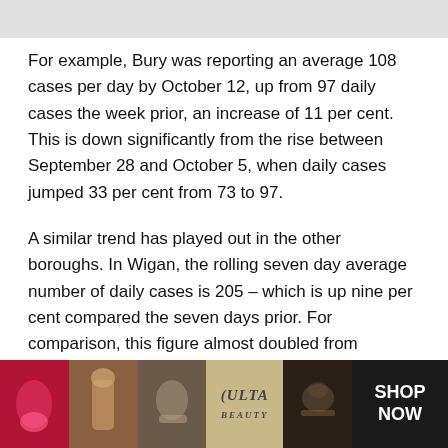For example, Bury was reporting an average 108 cases per day by October 12, up from 97 daily cases the week prior, an increase of 11 per cent. This is down significantly from the rise between September 28 and October 5, when daily cases jumped 33 per cent from 73 to 97.
A similar trend has played out in the other boroughs. In Wigan, the rolling seven day average number of daily cases is 205 – which is up nine per cent compared the seven days prior. For comparison, this figure almost doubled from September 28, when it was 99.3, to October 5's 188.
Rochdale's is currently recording 149 cases per day, up by 16 per cent the week before, when it was 128. The week-on-week rise then was much smaller than the inc[CLOSE] betwe[ad overlay]ses jumped[ad overlay]
[Figure (screenshot): Advertisement overlay from ULTA Beauty showing makeup product images with CLOSE button and SHOP NOW call to action]